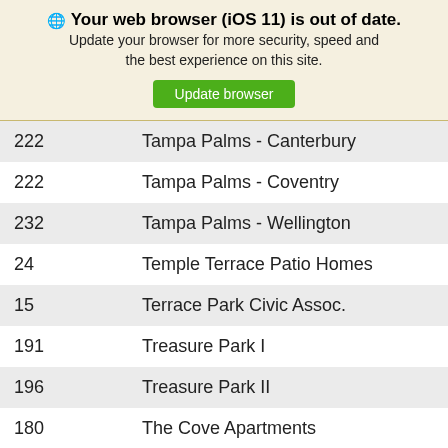🌐 Your web browser (iOS 11) is out of date. Update your browser for more security, speed and the best experience on this site. Update browser
| ID | Name |
| --- | --- |
| 222 | Tampa Palms - Canterbury |
| 222 | Tampa Palms - Coventry |
| 232 | Tampa Palms - Wellington |
| 24 | Temple Terrace Patio Homes |
| 15 | Terrace Park Civic Assoc. |
| 191 | Treasure Park I |
| 196 | Treasure Park II |
| 180 | The Cove Apartments |
| 161 | The Delaware Neighborhood Watch |